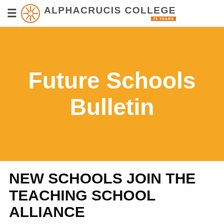ALPHACRUCIS COLLEGE 75 YEARS
Future Schools Bulletin
NEW SCHOOLS JOIN THE TEACHING SCHOOL ALLIANCE